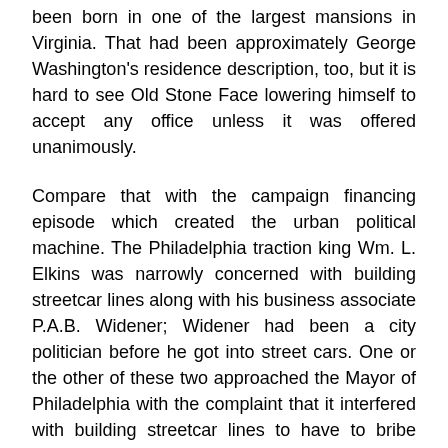been born in one of the largest mansions in Virginia. That had been approximately George Washington's residence description, too, but it is hard to see Old Stone Face lowering himself to accept any office unless it was offered unanimously.
Compare that with the campaign financing episode which created the urban political machine. The Philadelphia traction king Wm. L. Elkins was narrowly concerned with building streetcar lines along with his business associate P.A.B. Widener; Widener had been a city politician before he got into street cars. One or the other of these two approached the Mayor of Philadelphia with the complaint that it interfered with building streetcar lines to have to bribe every bartender on every street corner. So he made a proposal. It wasn't the money that bothered him, because he could just raise trolley fares to cover it, it was the protracted delays. So, how would it be if the trolley company just delivered a big